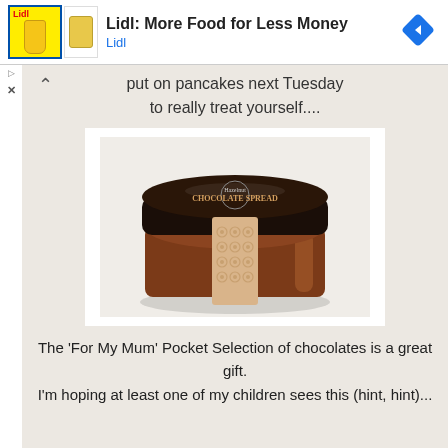Lidl: More Food for Less Money
Lidl
put on pancakes next Tuesday
to really treat yourself....
[Figure (photo): A round jar of Hazelnut Chocolate Spread with a dark brown lid and a beige decorative band/label around the middle, placed on a light stone surface.]
The 'For My Mum' Pocket Selection of chocolates is a great gift.
I'm hoping at least one of my children sees this (hint, hint)...